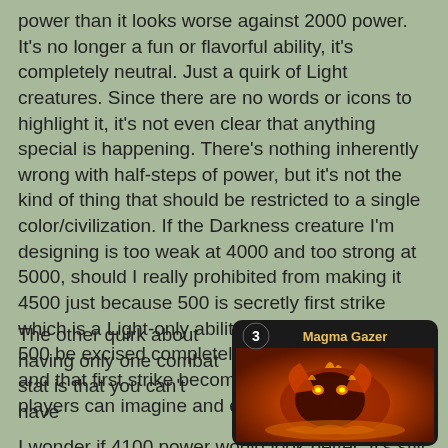power than it looks worse against 2000 power. It's no longer a fun or flavorful ability, it's completely neutral. Just a quirk of Light creatures. Since there are no words or icons to highlight it, it's not even clear that anything special is happening. There's nothing inherently wrong with half-steps of power, but it's not the kind of thing that should be restricted to a single color/civilization. If the Darkness creature I'm designing is too weak at 4000 and too strong at 5000, should I really prohibited from making it 4500 just because 500 is secretly first strike which is a Light-only ability? I would prefer that 500 be excised completely or used ubiquitously and that first strike become an explicit ability that players can imagine and enjoy.
I wonder if 4100 power would look better. It's still plainly better than 4000, but doesn't really look like it's competing with 5000 at all. It's fascinating how psychology and perception affect functionally identical designs.
The other quirk about having only one combat stat is that you can't have
[Figure (illustration): A trading card titled 'Magma Gazer' with a cost of 3 in the top left corner, showing a creature with fiery/magma imagery on an orange-red background with a black border.]